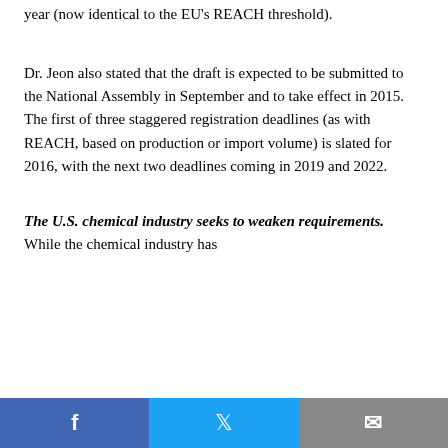year (now identical to the EU's REACH threshold).
Dr. Jeon also stated that the draft is expected to be submitted to the National Assembly in September and to take effect in 2015. The first of three staggered registration deadlines (as with REACH, based on production or import volume) is slated for 2016, with the next two deadlines coming in 2019 and 2022.
The U.S. chemical industry seeks to weaken requirements. While the chemical industry has
Facebook | Twitter | Email